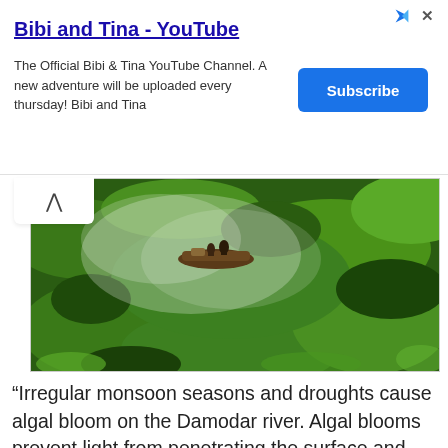Bibi and Tina - YouTube
The Official Bibi & Tina YouTube Channel. A new adventure will be uploaded every thursday! Bibi and Tina
[Subscribe]
[Figure (photo): Aerial view of a boat on a green algae-covered river (Damodar river), with mist rising from the water. Dense algal bloom covers most of the water surface, visible from a drone perspective.]
“Irregular monsoon seasons and droughts cause algal bloom on the Damodar river. Algal blooms prevent light from penetrating the surface and prevent oxygen absorption by the organisms beneath, impacting human health and habitats in the area.”